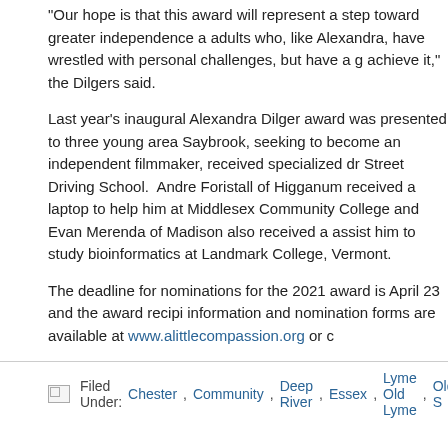“Our hope is that this award will represent a step toward greater independence a adults who, like Alexandra, have wrestled with personal challenges, but have a g achieve it,” the Dilgers said.
Last year’s inaugural Alexandra Dilger award was presented to three young area Saybrook, seeking to become an independent filmmaker, received specialized dr Street Driving School. Andre Foristall of Higganum received a laptop to help him at Middlesex Community College and Evan Merenda of Madison also received a assist him to study bioinformatics at Landmark College, Vermont.
The deadline for nominations for the 2021 award is April 23 and the award recipi information and nomination forms are available at www.alittlecompassion.org or c
Filed Under: Chester, Community, Deep River, Essex, Lyme Old Lyme, Old S
A View from My Porch: Is it Time for Americans to A Change?
March 15, 2021 by Thomas D. Gotowka
[Figure (photo): Light blue/gray header image for article]